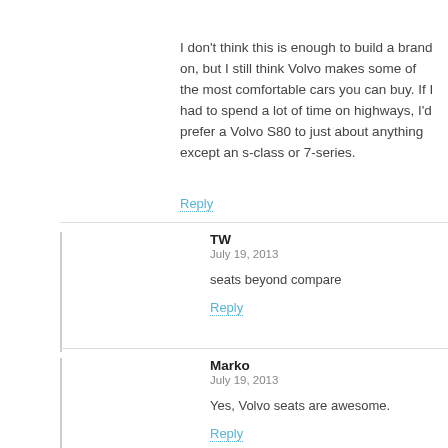I don't think this is enough to build a brand on, but I still think Volvo makes some of the most comfortable cars you can buy. If I had to spend a lot of time on highways, I'd prefer a Volvo S80 to just about anything except an s-class or 7-series.
Reply
TW
July 19, 2013
seats beyond compare
Reply
Marko
July 19, 2013
Yes, Volvo seats are awesome.
Reply
Dave M.
July 20, 2013
And sound systems. Probably the most comfortable car I've ever driven.
Reply